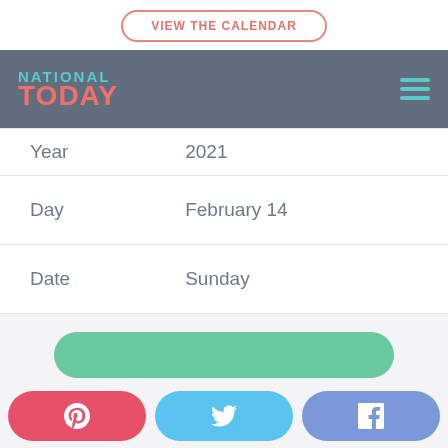VIEW THE CALENDAR
[Figure (logo): National Today logo with navigation bar, teal hamburger menu icon on right]
| Year | 2021 |
| Day | February 14 |
| Date | Sunday |
[Figure (other): Green rounded button (partially visible)]
[Figure (other): Social share buttons row: Pinterest (red), Twitter (blue), Facebook (blue-purple)]